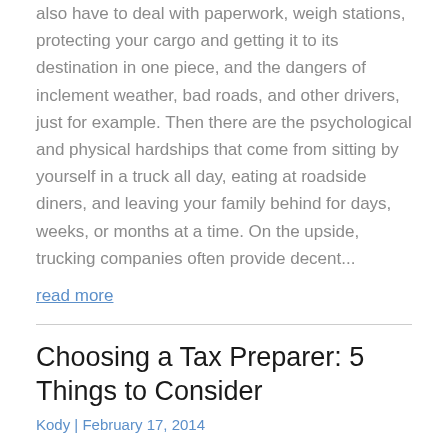also have to deal with paperwork, weigh stations, protecting your cargo and getting it to its destination in one piece, and the dangers of inclement weather, bad roads, and other drivers, just for example. Then there are the psychological and physical hardships that come from sitting by yourself in a truck all day, eating at roadside diners, and leaving your family behind for days, weeks, or months at a time. On the upside, trucking companies often provide decent...
read more
Choosing a Tax Preparer: 5 Things to Consider
Kody | February 17, 2014
It's almost tax time again, which means that you have to find someone to prepare your taxes. As much as we'd like to think we can do our own taxes, it can help to have a professional organize our books and get the most out of